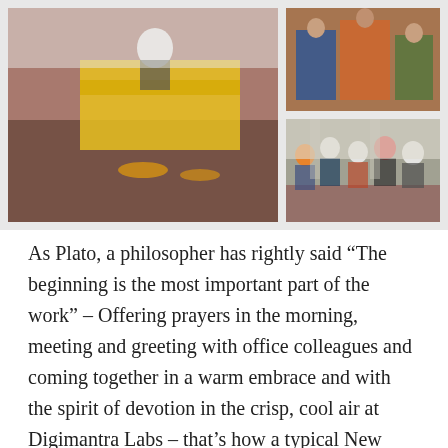[Figure (photo): Three photos arranged in a grid: left large photo showing a Sikh religious leader/speaker sitting at a decorated yellow podium with flowers and offerings on a floral carpet; top right photo showing women in colorful traditional attire sitting together; bottom right photo showing a group of Sikh men wearing turbans sitting together on the floor.]
As Plato, a philosopher has rightly said “The beginning is the most important part of the work” – Offering prayers in the morning, meeting and greeting with office colleagues and coming together in a warm embrace and with the spirit of devotion in the crisp, cool air at Digimantra Labs – that’s how a typical New Year day is celebrated by the happy and high-spirited Digitians.